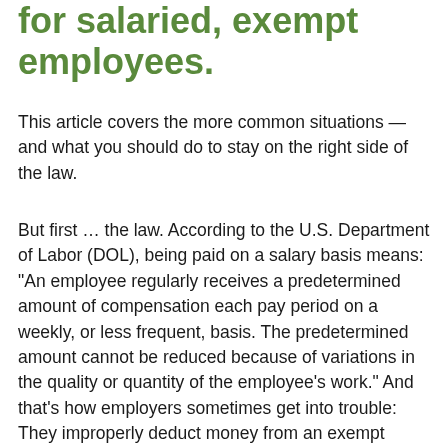for salaried, exempt employees.
This article covers the more common situations — and what you should do to stay on the right side of the law.
But first … the law. According to the U.S. Department of Labor (DOL), being paid on a salary basis means: “An employee regularly receives a predetermined amount of compensation each pay period on a weekly, or less frequent, basis. The predetermined amount cannot be reduced because of variations in the quality or quantity of the employee’s work.” And that’s how employers sometimes get into trouble: They improperly deduct money from an exempt worker’s paycheck.